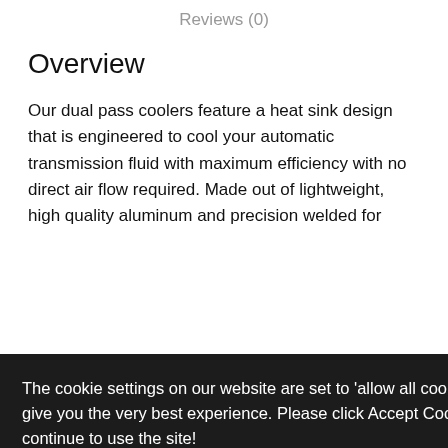Reviews (0)
Overview
Our dual pass coolers feature a heat sink design that is engineered to cool your automatic transmission fluid with maximum efficiency with no direct air flow required. Made out of lightweight, high quality aluminum and precision welded for durability and the utmost performance. The …gives …ere …ports … …ized …nt
The cookie settings on our website are set to 'allow all cookies' to give you the very best experience. Please click Accept Cookies to continue to use the site!
Do not sell my personal information.
Cookie Settings
ACCEPT COOKIES
3" W x 3-1/4" H x 17-1/4" OAL